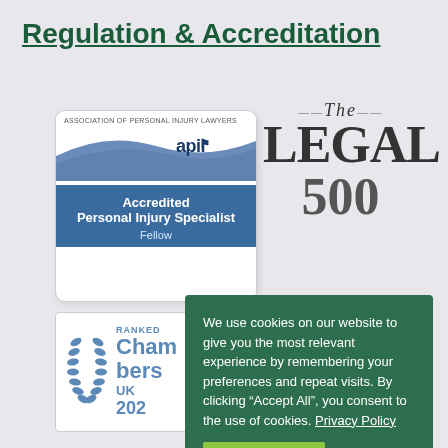Regulation & Accreditation
[Figure (logo): APIL (Association of Personal Injury Lawyers) accreditation badge showing 'Accredited Personal Injury Specialist Fellow']
[Figure (logo): The Legal 500 logo/badge]
[Figure (logo): Chambers UK 2024 Ranked badge with laurel wreath]
We use cookies on our website to give you the most relevant experience by remembering your preferences and repeat visits. By clicking “Accept All”, you consent to the use of cookies. Privacy Policy
Accept All